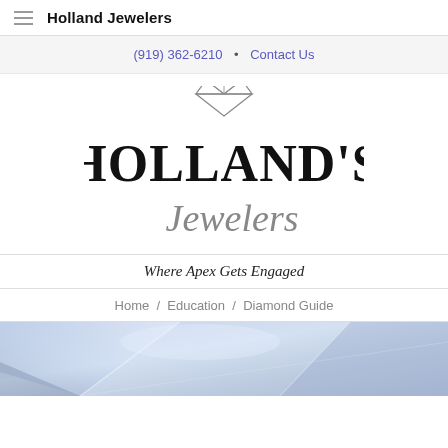Holland Jewelers
(919) 362-6210  •  Contact Us
[Figure (logo): Holland's Jewelers logo with diamond gem above text. Large serif text HOLLAND'S in black, below it cursive italic Jewelers in gray/silver. Above the H is a line-drawn diamond shape.]
Where Apex Gets Engaged
Home  /  Education  /  Diamond Guide
[Figure (photo): Close-up macro photo of a diamond jewel with blue and white tones, showing facets and reflections.]